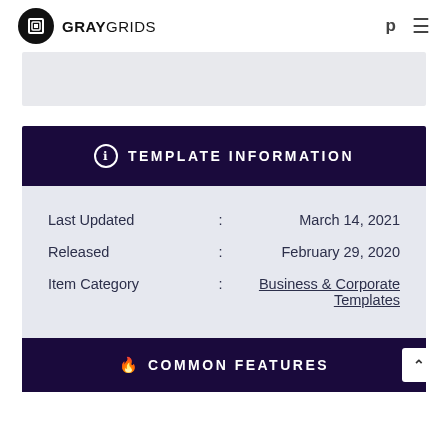GRAYGRIDS
TEMPLATE INFORMATION
| Field | : | Value |
| --- | --- | --- |
| Last Updated | : | March 14, 2021 |
| Released | : | February 29, 2020 |
| Item Category | : | Business & Corporate Templates |
COMMON FEATURES